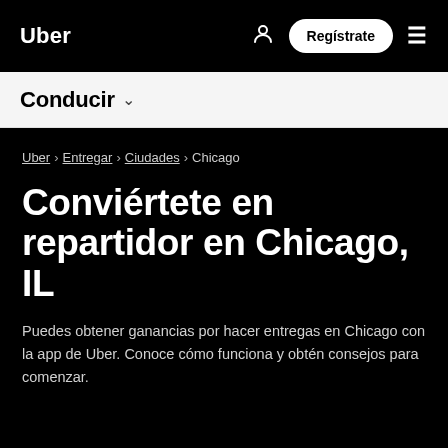Uber | Regístrate
Conducir
Uber › Entregar › Ciudades › Chicago
Conviértete en repartidor en Chicago, IL
Puedes obtener ganancias por hacer entregas en Chicago con la app de Uber. Conoce cómo funciona y obtén consejos para comenzar.